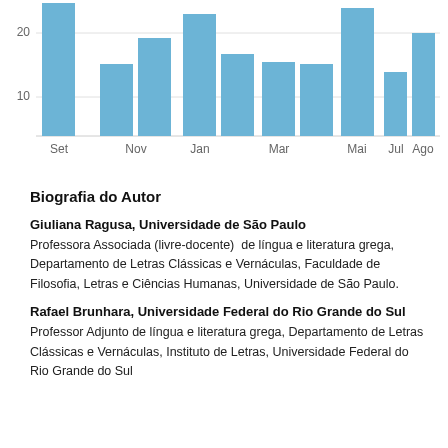[Figure (bar-chart): ]
Biografia do Autor
Giuliana Ragusa, Universidade de São Paulo
Professora Associada (livre-docente)  de língua e literatura grega, Departamento de Letras Clássicas e Vernáculas, Faculdade de Filosofia, Letras e Ciências Humanas, Universidade de São Paulo.
Rafael Brunhara, Universidade Federal do Rio Grande do Sul
Professor Adjunto de língua e literatura grega, Departamento de Letras Clássicas e Vernáculas, Instituto de Letras, Universidade Federal do Rio Grande do Sul